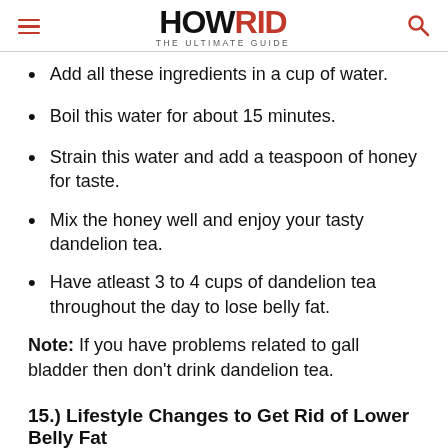HOWRID THE ULTIMATE GUIDE
Add all these ingredients in a cup of water.
Boil this water for about 15 minutes.
Strain this water and add a teaspoon of honey for taste.
Mix the honey well and enjoy your tasty dandelion tea.
Have atleast 3 to 4 cups of dandelion tea throughout the day to lose belly fat.
Note: If you have problems related to gall bladder then don't drink dandelion tea.
15.) Lifestyle Changes to Get Rid of Lower Belly Fat